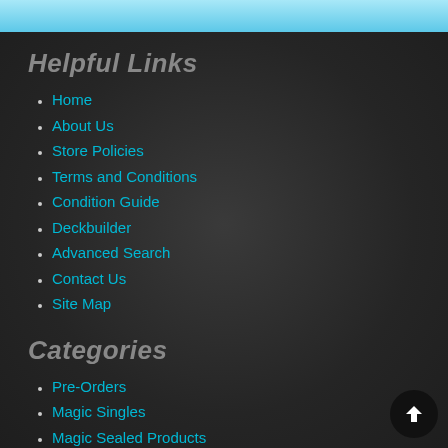Helpful Links
Home
About Us
Store Policies
Terms and Conditions
Condition Guide
Deckbuilder
Advanced Search
Contact Us
Site Map
Categories
Pre-Orders
Magic Singles
Magic Sealed Products
Yu-Gi-Oh Singles
Yu-Gi-Oh Sealed Products